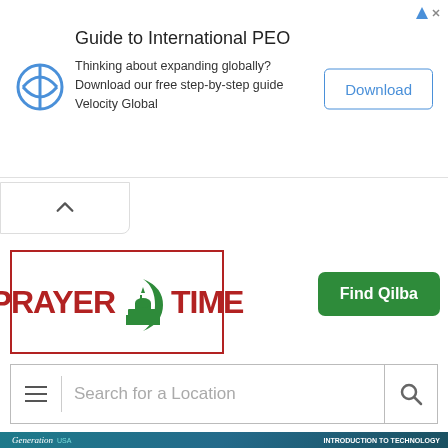[Figure (screenshot): Top advertisement banner: Guide to International PEO with Velocity Global logo, Download button, and ad marker]
[Figure (screenshot): Collapse chevron button bar]
[Figure (logo): Prayer Time website logo with mosque silhouette in green]
[Figure (screenshot): Find Qilba green button]
[Figure (screenshot): Search bar with hamburger menu and search icon, placeholder: Search for a Location]
[Figure (screenshot): Bottom advertisement: Generation USA - Introduction to Technology, Free Online Workshop with students in background]